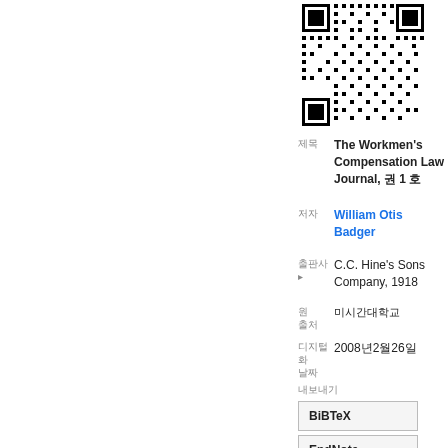[Figure (other): QR code image in upper right area of page]
제목 The Workmen's Compensation Law Journal, 권 1 호
저자 William Otis Badger
출판사 C.C. Hine's Sons Company, 1918
원본 출처 미시간대학교
디지털화 날짜 2008년2월26일
내보내기 BiBTeX EndNote RefMan